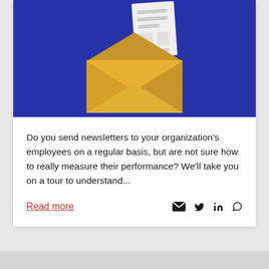[Figure (illustration): Isometric illustration of a golden/yellow envelope with a document/newsletter page sticking out of the top, set against a dark blue background.]
Do you send newsletters to your organization's employees on a regular basis, but are not sure how to really measure their performance? We'll take you on a tour to understand...
Read more